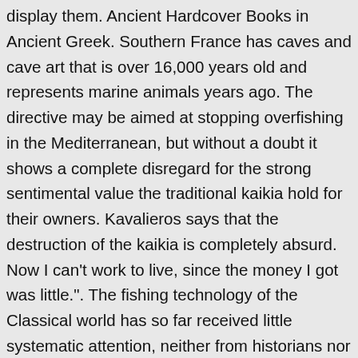display them. Ancient Hardcover Books in Ancient Greek. Southern France has caves and cave art that is over 16,000 years old and represents marine animals years ago. The directive may be aimed at stopping overfishing in the Mediterranean, but without a doubt it shows a complete disregard for the strong sentimental value the traditional kaikia hold for their owners. Kavalieros says that the destruction of the kaikia is completely absurd. Now I can't work to live, since the money I got was little.". The fishing technology of the Classical world has so far received little systematic attention, neither from historians nor from archaeologists. Literally thousands of images of gods and heroes, victorious athletes, statesmen, and philosophers filled temples and sanctuaries, and stood in the public areas of major cities. Most of the people of Another mention of fishing with bait came to us from the ancient Greek epics by the authorship of Homer. Except primarily for food, fishing is used as recreational activity. The ancient river Nile was full of fish; fresh and dried fish were a staple food for much of the population. The EU law asks fishermen to apply their latest obligations about to be...